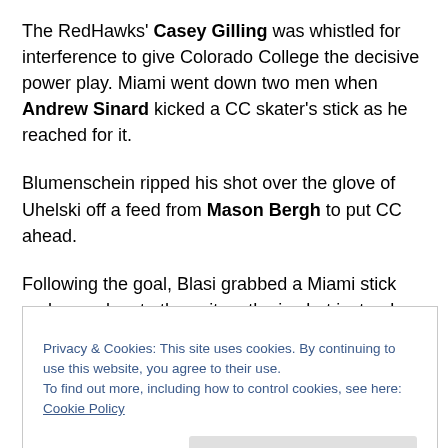The RedHawks' Casey Gilling was whistled for interference to give Colorado College the decisive power play. Miami went down two men when Andrew Sinard kicked a CC skater's stick as he reached for it.
Blumenschein ripped his shot over the glove of Uhelski off a feed from Mason Bergh to put CC ahead.
Following the goal, Blasi grabbed a Miami stick and wound up to throw it on the ice but instead shattered it on the [boards].
Privacy & Cookies: This site uses cookies. By continuing to use this website, you agree to their use.
To find out more, including how to control cookies, see here: Cookie Policy
STATS: Daschke scored for the second time in five